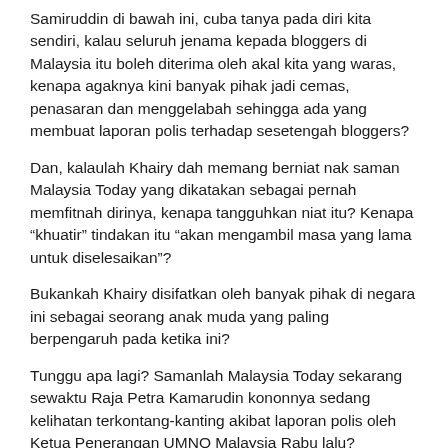Samiruddin di bawah ini, cuba tanya pada diri kita sendiri, kalau seluruh jenama kepada bloggers di Malaysia itu boleh diterima oleh akal kita yang waras, kenapa agaknya kini banyak pihak jadi cemas, penasaran dan menggelabah sehingga ada yang membuat laporan polis terhadap sesetengah bloggers?
Dan, kalaulah Khairy dah memang berniat nak saman Malaysia Today yang dikatakan sebagai pernah memfitnah dirinya, kenapa tangguhkan niat itu? Kenapa “khuatir” tindakan itu “akan mengambil masa yang lama untuk diselesaikan”?
Bukankah Khairy disifatkan oleh banyak pihak di negara ini sebagai seorang anak muda yang paling berpengaruh pada ketika ini?
Tunggu apa lagi? Samanlah Malaysia Today sekarang sewaktu Raja Petra Kamarudin kononnya sedang kelihatan terkontang-kanting akibat laporan polis oleh Ketua Penerangan UMNO Malaysia Rabu lalu?
From Abirudin Attan of "Rockybru":